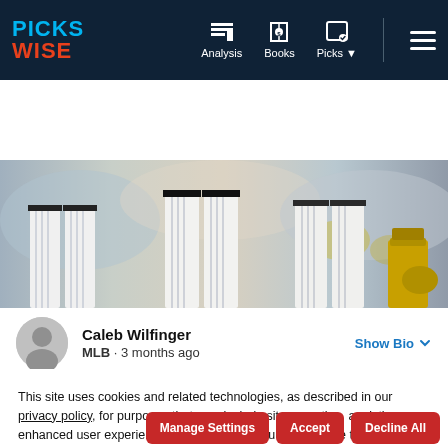PICKSWISE — Navigation: Analysis, Books, Picks
[Figure (screenshot): Row of sportsbook logo badges with notification counts: 1, 2, 1, 1, 1, 1, 1]
[Figure (photo): Baseball players in white pinstripe uniforms, showing lower body/legs only, blurred background of crowd]
Caleb Wilfinger
MLB · 3 months ago
Show Bio
This site uses cookies and related technologies, as described in our privacy policy, for purposes that may include site operation, analytics, enhanced user experience, or advertising. You may choose to consent to our use of these technologies, or manage your own preferences.
Manage Settings | Accept | Decline All